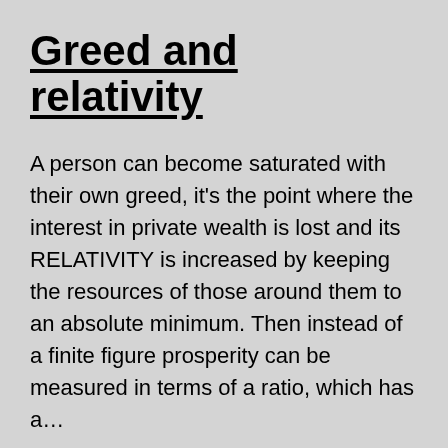Greed and relativity
A person can become saturated with their own greed, it's the point where the interest in private wealth is lost and its RELATIVITY is increased by keeping the resources of those around them to an absolute minimum. Then instead of a finite figure prosperity can be measured in terms of a ratio, which has a…
Continue reading